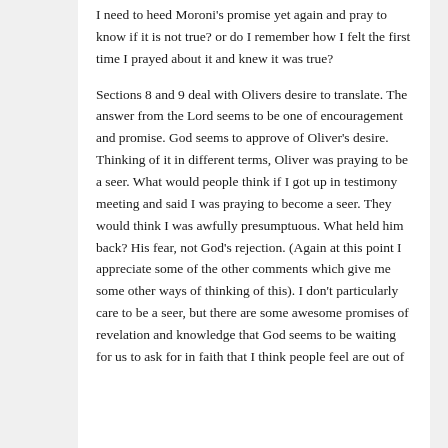I need to heed Moroni's promise yet again and pray to know if it is not true? or do I remember how I felt the first time I prayed about it and knew it was true?
Sections 8 and 9 deal with Olivers desire to translate. The answer from the Lord seems to be one of encouragement and promise. God seems to approve of Oliver's desire. Thinking of it in different terms, Oliver was praying to be a seer. What would people think if I got up in testimony meeting and said I was praying to become a seer. They would think I was awfully presumptuous. What held him back? His fear, not God's rejection. (Again at this point I appreciate some of the other comments which give me some other ways of thinking of this). I don't particularly care to be a seer, but there are some awesome promises of revelation and knowledge that God seems to be waiting for us to ask for in faith that I think people feel are out of